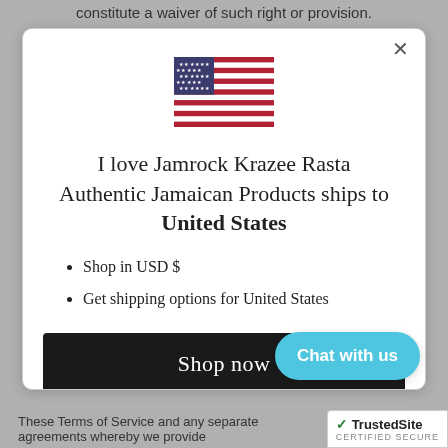constitute a waiver of such right or provision.
[Figure (illustration): US flag SVG illustration centered in modal dialog]
I love Jamrock Krazee Rasta Authentic Jamaican Products ships to United States
Shop in USD $
Get shipping options for United States
Shop now
Change shipping country
Chat with us
[Figure (logo): TrustedSite Certified Secure badge]
These Terms of Service and any separate agreements whereby we provide